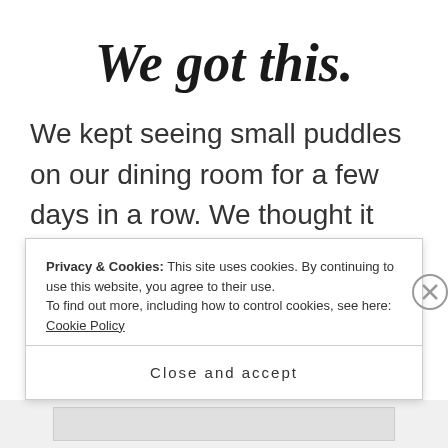We got this.
We kept seeing small puddles on our dining room for a few days in a row. We thought it was Bella, our older golden retriever. But we would never actually catch her doing this. And this is so unlike h...
Privacy & Cookies: This site uses cookies. By continuing to use this website, you agree to their use. To find out more, including how to control cookies, see here: Cookie Policy
Close and accept